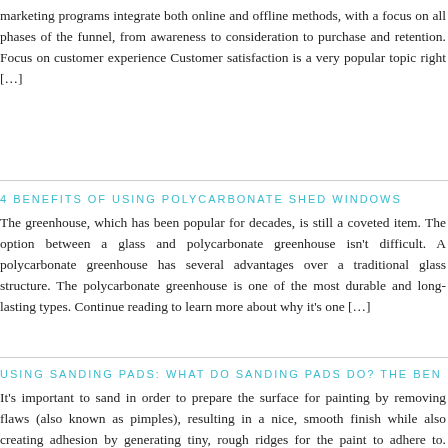marketing programs integrate both online and offline methods, with a focus on all phases of the funnel, from awareness to consideration to purchase and retention. Focus on customer experience Customer satisfaction is a very popular topic right […]
4 BENEFITS OF USING POLYCARBONATE SHED WINDOWS
The greenhouse, which has been popular for decades, is still a coveted item. The option between a glass and polycarbonate greenhouse isn't difficult. A polycarbonate greenhouse has several advantages over a traditional glass structure. The polycarbonate greenhouse is one of the most durable and long-lasting types. Continue reading to learn more about why it's one […]
USING SANDING PADS: WHAT DO SANDING PADS DO? THE BEN...
It's important to sand in order to prepare the surface for painting by removing flaws (also known as pimples), resulting in a nice, smooth finish while also creating adhesion by generating tiny, rough ridges for the paint to adhere to. Choosing the right sandpaper for a woodworking, painting, or finishing proje...